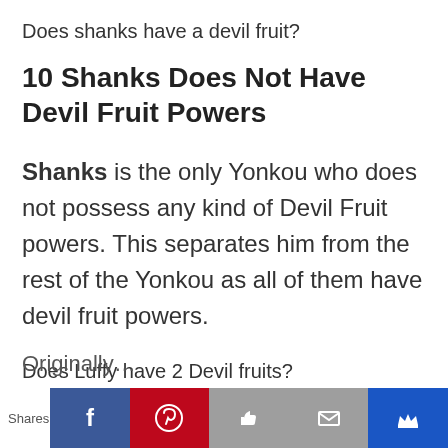Does shanks have a devil fruit?
10 Shanks Does Not Have Devil Fruit Powers
Shanks is the only Yonkou who does not possess any kind of Devil Fruit powers. This separates him from the rest of the Yonkou as all of them have devil fruit powers.
Does Luffy have 2 Devil fruits?
Originally…